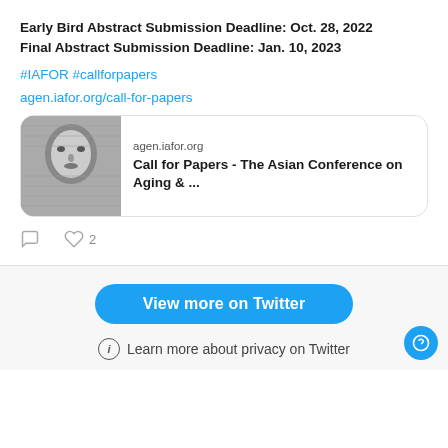Early Bird Abstract Submission Deadline: Oct. 28, 2022
Final Abstract Submission Deadline: Jan. 10, 2023
#IAFOR #callforpapers
agen.iafor.org/call-for-papers
[Figure (screenshot): Link preview card showing agen.iafor.org with a black and white portrait photo and text 'Call for Papers - The Asian Conference on Aging & ...']
♡ 2
View more on Twitter
Learn more about privacy on Twitter